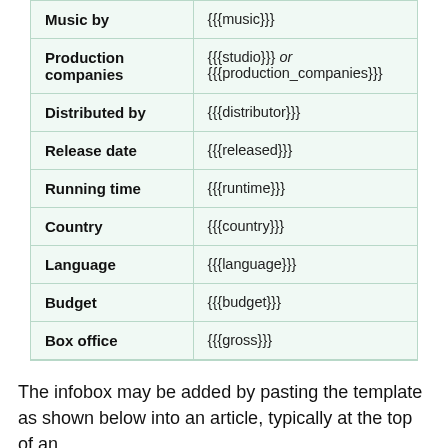| Field | Template |
| --- | --- |
| Music by | {{{music}}} |
| Production companies | {{{studio}}} or {{{production_companies}}} |
| Distributed by | {{{distributor}}} |
| Release date | {{{released}}} |
| Running time | {{{runtime}}} |
| Country | {{{country}}} |
| Language | {{{language}}} |
| Budget | {{{budget}}} |
| Box office | {{{gross}}} |
The infobox may be added by pasting the template as shown below into an article, typically at the top of an